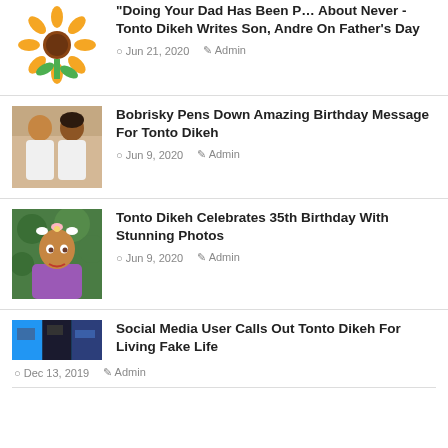[Figure (illustration): Sunflower emoji illustration]
Doing Your Dad Has Been Part About Never - Tonto Dikeh Writes Son, Andre On Father's Day
Jun 21, 2020   Admin
[Figure (photo): Two people in white robes]
Bobrisky Pens Down Amazing Birthday Message For Tonto Dikeh
Jun 9, 2020   Admin
[Figure (photo): Woman with floral headpiece in purple outfit against green background]
Tonto Dikeh Celebrates 35th Birthday With Stunning Photos
Jun 9, 2020   Admin
[Figure (screenshot): Small thumbnail image with blue and dark tones]
Social Media User Calls Out Tonto Dikeh For Living Fake Life
Dec 13, 2019   Admin